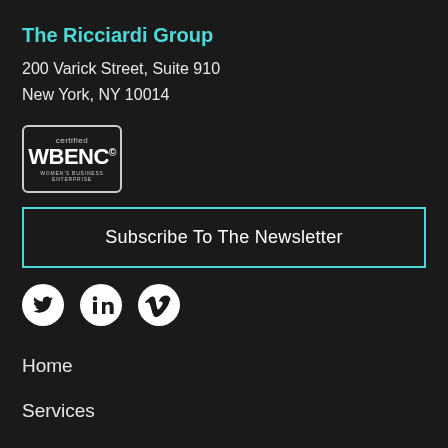The Ricciardi Group
200 Varick Street, Suite 910
New York, NY 10014
[Figure (logo): Certified WBENC Women's Business Enterprise badge/logo in a rounded rectangle border]
Subscribe To The Newsletter
[Figure (illustration): Social media icons: Twitter, LinkedIn, Vimeo — white circles with white logos]
Home
Services
Case Studies
Request Strategy
Who We Are